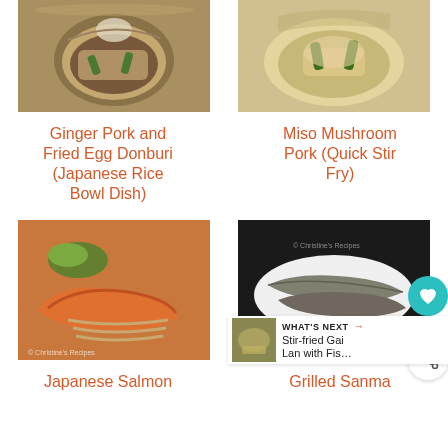[Figure (photo): Bowl of Ginger Pork and Fried Egg Donburi Japanese rice dish on bamboo mat]
[Figure (photo): Miso Mushroom Pork Quick Stir Fry dish with green pepper and mushrooms]
Ginger Pork and Fried Egg Donburi (Japanese Rice Bowl Dish)
Miso Mushroom Pork (Quick Stir Fry)
[Figure (photo): Japanese Salmon dish with soba noodles and green vegetables]
[Figure (photo): Grilled Sanma fish on white plate with dipping sauce and herbs]
Japanese Salmon
Grilled Sanma